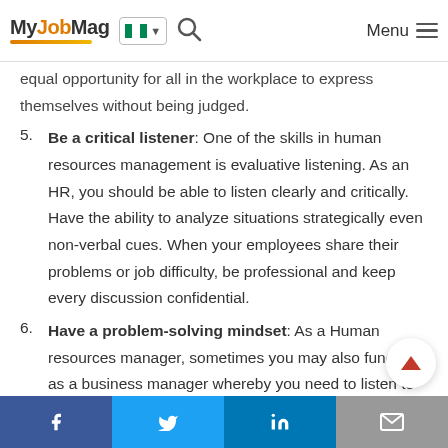MyJobMag — Navigation bar with logo, Nigeria flag selector, search icon, and menu
equal opportunity for all in the workplace to express themselves without being judged.
5. Be a critical listener: One of the skills in human resources management is evaluative listening. As an HR, you should be able to listen clearly and critically. Have the ability to analyze situations strategically even non-verbal cues. When your employees share their problems or job difficulty, be professional and keep every discussion confidential.
6. Have a problem-solving mindset: As a Human resources manager, sometimes you may also function as a business manager whereby you need to listen to clients and give advice. Therefore, have a good knowledge of the company business. When addressing an issue in the company, focus on
Share on Facebook | Share on Twitter | Share on LinkedIn | Share via Email